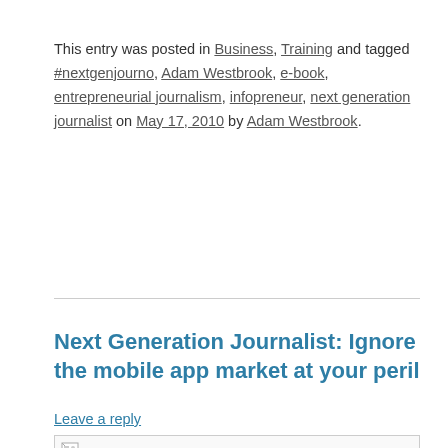This entry was posted in Business, Training and tagged #nextgenjourno, Adam Westbrook, e-book, entrepreneurial journalism, infopreneur, next generation journalist on May 17, 2010 by Adam Westbrook.
Next Generation Journalist: Ignore the mobile app market at your peril
Leave a reply
[Figure (photo): Image placeholder with broken image icon at top-left, white content area below]